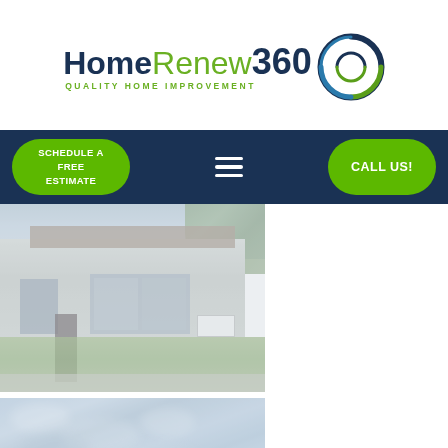[Figure (logo): HomeRenew360 Quality Home Improvement logo with circular swirl graphic]
[Figure (infographic): Dark navy navigation bar with green 'Schedule a Free Estimate' button on left, hamburger menu icon in center, green 'Call Us!' button on right]
[Figure (photo): Exterior photo of a single-story white stucco home with large windows, a lawn, and trees. Image appears slightly washed out/faded. A company sign is visible near the entrance.]
[Figure (photo): Partial bottom photo showing a cloudy sky texture, slightly blurred, blue-grey tones.]